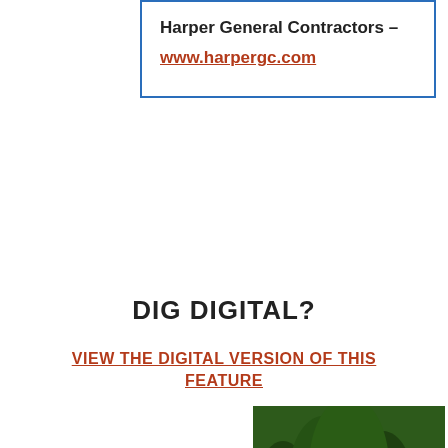Harper General Contractors – www.harpergc.com
DIG DIGITAL?
VIEW THE DIGITAL VERSION OF THIS FEATURE
[Figure (other): Business View Civil and Municipal magazine cover, Volume 2 Issue 9, with forest background]